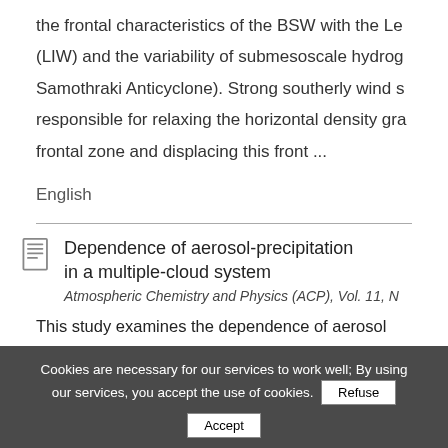the frontal characteristics of the BSW with the Le (LIW) and the variability of submesoscale hydrog Samothraki Anticyclone). Strong southerly wind s responsible for relaxing the horizontal density gra frontal zone and displacing this front ...
English
Dependence of aerosol-precipitation in a multiple-cloud system
Atmospheric Chemistry and Physics (ACP), Vol. 11, N GmbH, 2011
This study examines the dependence of aerosol
Cookies are necessary for our services to work well; By using our services, you accept the use of cookies.